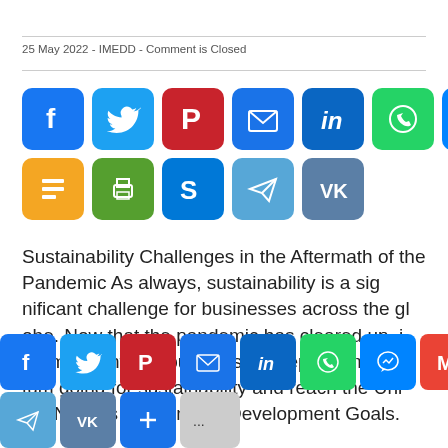25 May 2022 - IMEDD - Comment is Closed
[Figure (infographic): Social media share buttons: Facebook, Twitter, Pinterest, Email, LinkedIn, WhatsApp, Messenger, Gmail, Print, Skype, Telegram, VK, and more button]
Sustainability Challenges in the Aftermath of the Pandemic As always, sustainability is a significant challenge for businesses across the globe. Now that the pandemic has cleared up, it's important that businesses keep the momentum going for sustainability and reach the United Nations Sustainable Development Goals.
[Figure (infographic): Bottom sticky social share bar with Facebook, Twitter, Pinterest, Email, LinkedIn, WhatsApp, Messenger, Gmail, Print, Skype, Telegram, VK, and more button]